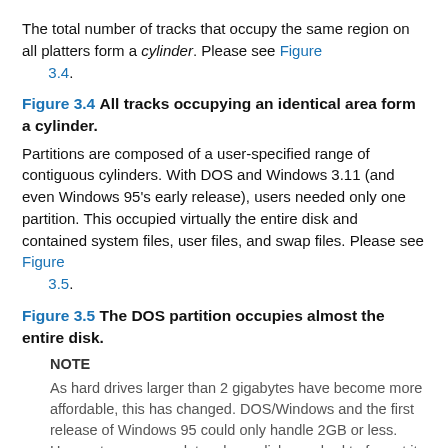The total number of tracks that occupy the same region on all platters form a cylinder. Please see Figure 3.4.
Figure 3.4 All tracks occupying an identical area form a cylinder.
Partitions are composed of a user-specified range of contiguous cylinders. With DOS and Windows 3.11 (and even Windows 95's early release), users needed only one partition. This occupied virtually the entire disk and contained system files, user files, and swap files. Please see Figure 3.5.
Figure 3.5 The DOS partition occupies almost the entire disk.
NOTE
As hard drives larger than 2 gigabytes have become more affordable, this has changed. DOS/Windows and the first release of Windows 95 could only handle 2GB or less. Hence, to accommodate a large disk, you had to format it in 2GB partition increments, in which your first partition would be Drive C:, your